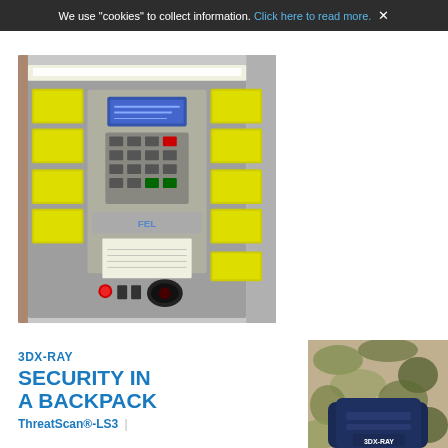We use "cookies" to collect information. Click here to read more.
[Figure (photo): Open electrical/security cabinet mounted on a brick wall, containing yellow modules, a keypad, LCD display, and various components with a door ajar to the right.]
[Figure (photo): 3DX-RAY advertisement showing a backpack on the right with military camouflage pattern. Text reads: 3DX-RAY, SECURITY IN A BACKPACK, ThreatScan®-LS3]